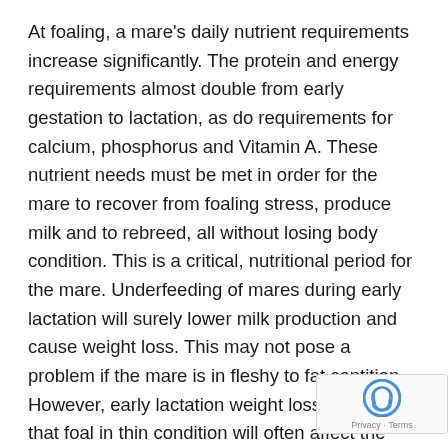At foaling, a mare's daily nutrient requirements increase significantly. The protein and energy requirements almost double from early gestation to lactation, as do requirements for calcium, phosphorus and Vitamin A. These nutrient needs must be met in order for the mare to recover from foaling stress, produce milk and to rebreed, all without losing body condition. This is a critical, nutritional period for the mare. Underfeeding of mares during early lactation will surely lower milk production and cause weight loss. This may not pose a problem if the mare is in fleshy to fat contition. However, early lactation weight loss in mares that foal in thin condition will often affect the mare's ability to raise her new foal and become pregnant again.